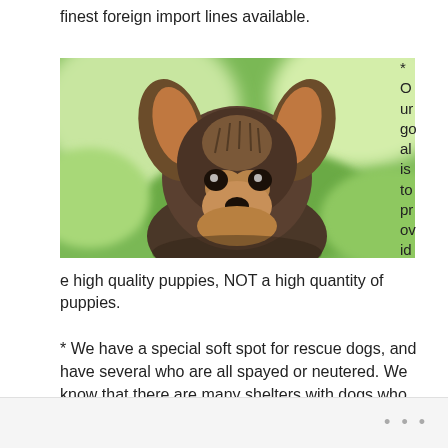finest foreign import lines available.
[Figure (photo): Close-up photo of a small fluffy puppy (Yorkshire Terrier type) with large ears, dark and tan fur, facing the camera with a blurred green background.]
* Our goal is to provide high quality puppies, NOT a high quantity of puppies.
* We have a special soft spot for rescue dogs, and have several who are all spayed or neutered. We know that there are many shelters with dogs who need loving
...